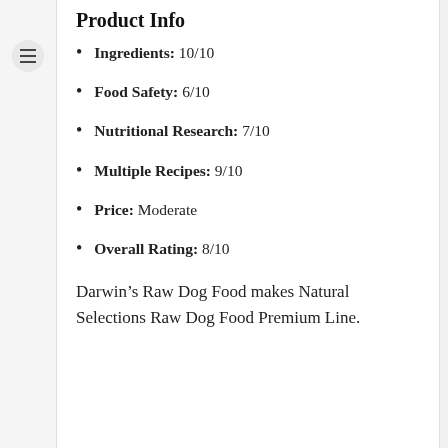Product Info
Ingredients: 10/10
Food Safety: 6/10
Nutritional Research: 7/10
Multiple Recipes: 9/10
Price: Moderate
Overall Rating: 8/10
Darwin’s Raw Dog Food makes Natural Selections Raw Dog Food Premium Line.